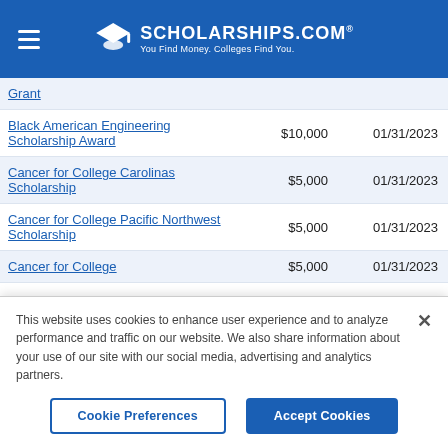SCHOLARSHIPS.COM — You Find Money. Colleges Find You.
| Scholarship Name | Amount | Deadline |
| --- | --- | --- |
| Grant |  |  |
| Black American Engineering Scholarship Award | $10,000 | 01/31/2023 |
| Cancer for College Carolinas Scholarship | $5,000 | 01/31/2023 |
| Cancer for College Pacific Northwest Scholarship | $5,000 | 01/31/2023 |
| Cancer for College | $5,000 | 01/31/2023 |
This website uses cookies to enhance user experience and to analyze performance and traffic on our website. We also share information about your use of our site with our social media, advertising and analytics partners.